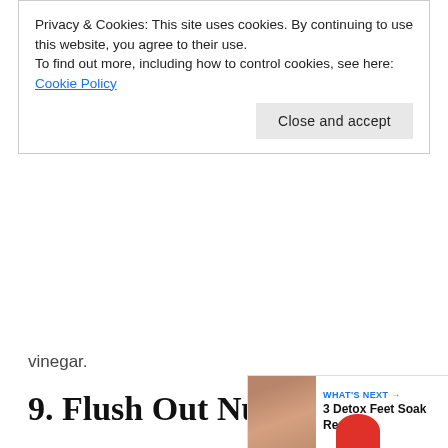Privacy & Cookies: This site uses cookies. By continuing to use this website, you agree to their use.
To find out more, including how to control cookies, see here: Cookie Policy
Close and accept
vinegar.
9. Flush Out Nutrients
Apple cider vinegar has a diuretic effect on the body, it helps remove toxins from the body when consumed correctly but it also washes out important nutrients and minerals from the body too. This can be prevented by taking multivitamins when on an apple cider eating foods high in magnesium and potassium.
0
WHAT'S NEXT → 3 Detox Feet Soak Recipe...